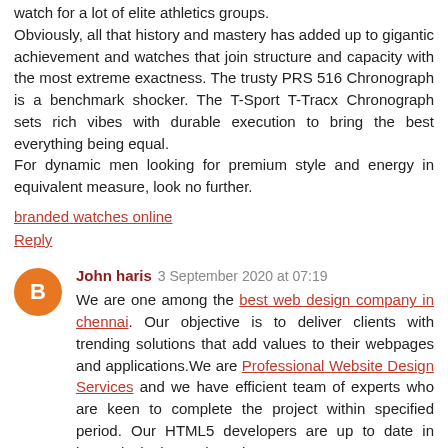watch for a lot of elite athletics groups. Obviously, all that history and mastery has added up to gigantic achievement and watches that join structure and capacity with the most extreme exactness. The trusty PRS 516 Chronograph is a benchmark shocker. The T-Sport T-Tracx Chronograph sets rich vibes with durable execution to bring the best everything being equal.
For dynamic men looking for premium style and energy in equivalent measure, look no further.
branded watches online
Reply
John haris 3 September 2020 at 07:19
We are one among the best web design company in chennai. Our objective is to deliver clients with trending solutions that add values to their webpages and applications.We are Professional Website Design Services and we have efficient team of experts who are keen to complete the project within specified period. Our HTML5 developers are up to date in latest designing tools and